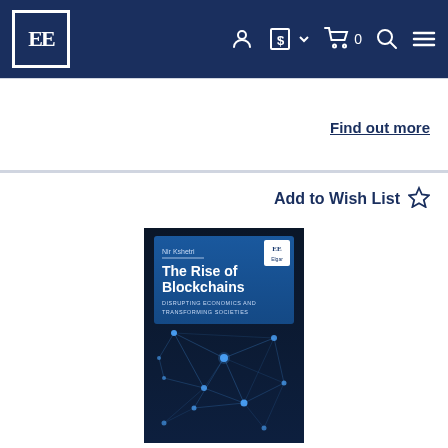EE [logo] | account icon | $ currency selector | cart 0 | search | menu
Find out more
Add to Wish List ☆
[Figure (photo): Book cover: 'The Rise of Blockchains — Disrupting Economics and Transforming Societies' by Nir Kshetri, published by Edward Elgar. Dark blue cover with network/blockchain graphic of interconnected nodes and lines.]